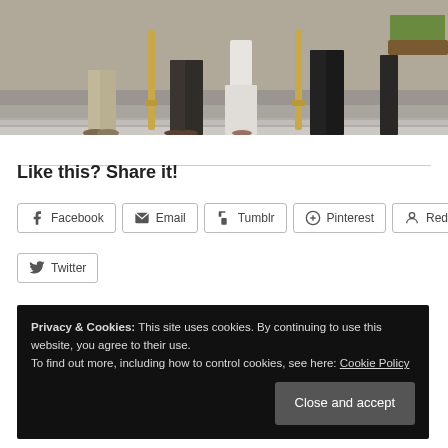[Figure (photo): Photograph showing group of people standing on steps of a building with ornate railings, plants visible in background, cropped to show lower bodies/legs]
Like this? Share it!
Facebook | Email | Tumblr | Pinterest | Reddit | Twitter (social share buttons)
Privacy & Cookies: This site uses cookies. By continuing to use this website, you agree to their use. To find out more, including how to control cookies, see here: Cookie Policy
Close and accept